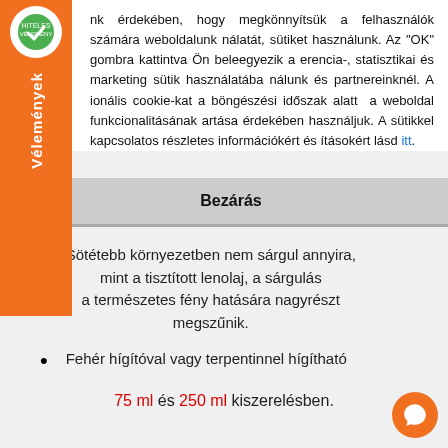nk érdekében, hogy megkönnyítsük a felhasználók számára weboldalunk nálatát, sütiket használunk. Az "OK" gombra kattintva Ön beleegyezik a erencia-, statisztikai és marketing sütik használatába nálunk és partnereinknél. A ionális cookie-kat a böngészési időszak alatt a weboldal funkcionalitásának artása érdekében használjuk. A sütikkel kapcsolatos részletes információkért és ításokért lásd itt.
Bezárás
Sötétebb környezetben nem sárgul annyira, mint a tisztított lenolaj, a sárgulás a természetes fény hatására nagyrészt megszűnik.
Fehér hígítóval vagy terpentinnel hígítható
75 ml és 250 ml kiszerelésben.